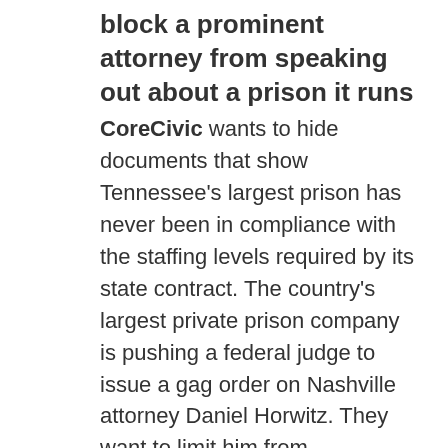block a prominent attorney from speaking out about a prison it runs
CoreCivic wants to hide documents that show Tennessee's largest prison has never been in compliance with the staffing levels required by its state contract. The country's largest private prison company is pushing a federal judge to issue a gag order on Nashville attorney Daniel Horwitz. They want to limit him from commenting on court documents publicly and to delete disparaging Twitter posts.
Open Secrets: Private prison industry shifts focus to immigrant detention centers, funding immigration hawks
Early in his term, President Joe Biden signed an